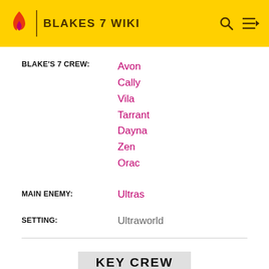BLAKES 7 WIKI
BLAKE'S 7 CREW: Avon, Cally, Vila, Tarrant, Dayna, Zen, Orac
MAIN ENEMY: Ultras
SETTING: Ultraworld
KEY CREW
WRITER: Trevor Hoyle